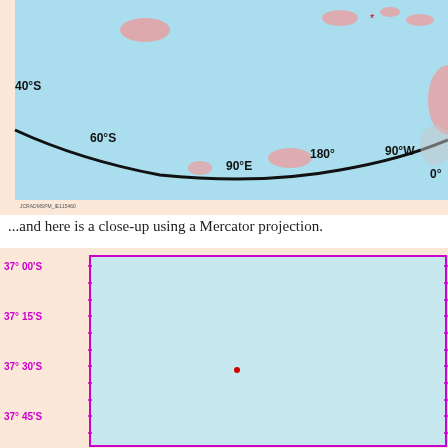[Figure (map): World map showing polar/Southern Hemisphere with latitude labels 40°S, 60°S and longitude labels 90°E, 180°, 90°W, 0°. Land masses shown in pink/salmon on light blue ocean background. Small red asterisk marker visible in upper right area. Black boundary arc curves across lower portion. Small text label at bottom left (illegible).]
...and here is a close-up using a Mercator projection.
[Figure (map): Mercator projection close-up map with magenta/purple border and tick marks. Y-axis labels in magenta: 37° 00'S, 37° 15'S, 37° 30'S, 37° 45'S. Light blue ocean fill. Small red dot marker near center-left at approximately 37° 30'S.]